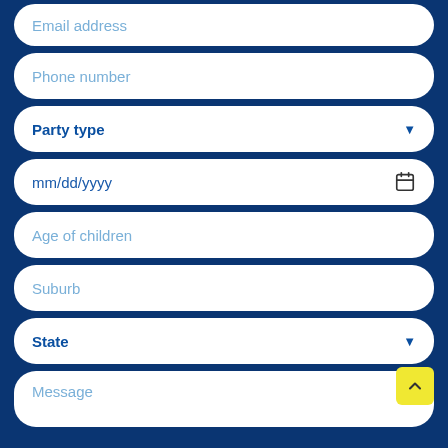[Figure (screenshot): Web form with multiple input fields on a dark blue background. Fields include: Email address (text input), Phone number (text input), Party type (dropdown), mm/dd/yyyy (date picker), Age of children (text input), Suburb (text input), State (dropdown), Message (text area). A yellow scroll-to-top button appears at the bottom right.]
Email address
Phone number
Party type
mm/dd/yyyy
Age of children
Suburb
State
Message